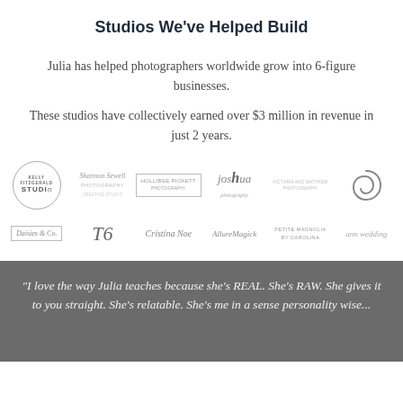Studios We've Helped Build
Julia has helped photographers worldwide grow into 6-figure businesses.
These studios have collectively earned over $3 million in revenue in just 2 years.
[Figure (logo): Two rows of photography studio logos including Kelly Fitzgerald Studio, Shannon Sewell Photography, Hollibee Pickett Photography, Joshua Photography, another studio, a spiral S logo, Daisies & Co, TB script, Cristina Love, AllureMagick, Petite Magnolia, and another studio]
"I love the way Julia teaches because she's REAL. She's RAW. She gives it to you straight. She's relatable. She's me in a sense personality wise..."